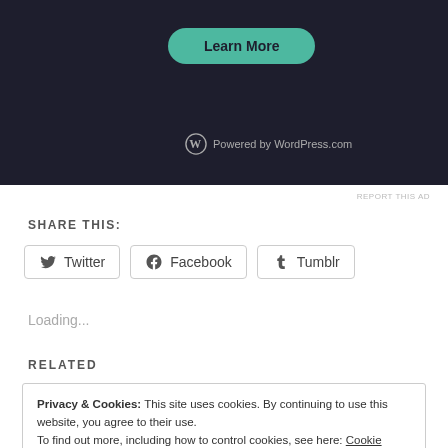[Figure (screenshot): Dark banner with a teal 'Learn More' button and WordPress.com logo at the bottom]
REPORT THIS AD
SHARE THIS:
Twitter  Facebook  Tumblr (share buttons)
Loading...
RELATED
Privacy & Cookies: This site uses cookies. By continuing to use this website, you agree to their use.
To find out more, including how to control cookies, see here: Cookie Policy
Close and accept